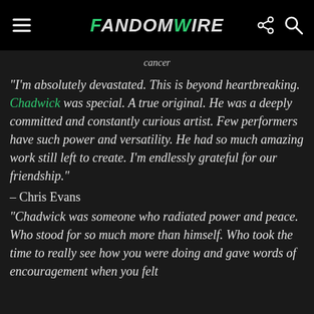FandomWire
cancer
“I’m absolutely devastated. This is beyond heartbreaking. Chadwick was special. A true original. He was a deeply committed and constantly curious artist. Few performers have such power and versatility. He had so much amazing work still left to create. I’m endlessly grateful for our friendship.”
– Chris Evans
“Chadwick was someone who radiated power and peace. Who stood for so much more than himself. Who took the time to really see how you were doing and gave words of encouragement when you felt